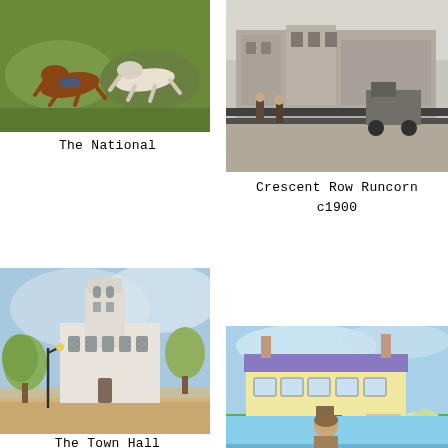[Figure (photo): Two dogs running in a race, one brown and one white/grey, on grass. A painting/illustration of The National horse or dog race.]
The National
[Figure (photo): Black and white vintage photograph of Crescent Row Runcorn circa 1900, showing a street scene with buildings and a vehicle.]
Crescent Row Runcorn c1900
[Figure (illustration): Watercolour painting of a town hall building with a clock tower, surrounded by trees and a lamp post in the foreground.]
The Town Hall
[Figure (illustration): Watercolour painting of a yellow cottage in Brittany with a purple/blue roof, green garden lawn, and flower beds.]
Cottage In Brittany
[Figure (photo): Partial image at bottom right showing a person on a beach with sea in the background.]